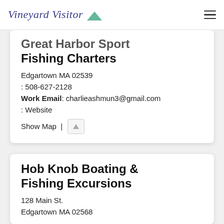Vineyard Visitor
Great Harbor Sport Fishing Charters
Edgartown MA 02539
: 508-627-2128
Work Email: charlieashmun3@gmail.com
: Website
Show Map |
Hob Knob Boating & Fishing Excursions
128 Main St.
Edgartown MA 02568